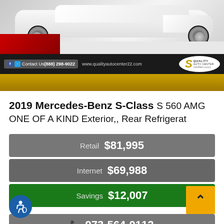[Figure (photo): White 2019 Mercedes-Benz S-Class car photo with Quality Auto Center branding banner showing contact info, phone number (888) 298-9022, website www.qualityautocenter22.com, and a gold/dark dealership header bar]
2019 Mercedes-Benz S-Class S 560 AMG ONE OF A KIND Exterior,, Rear Refrigerat
| Retail | $81,995 |
| Internet | $69,988 |
| Savings | $12,007 |
973-564-0112